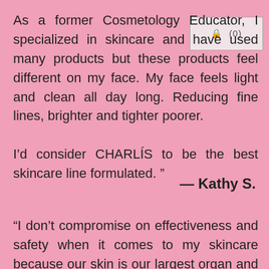As a former Cosmetology Educator, I specialized in skincare and have used many products but these products feel different on my face. My face feels light and clean all day long. Reducing fine lines, brighter and tighter poorer.
I'd consider CHARLÍS to be the best skincare line formulated.”
— Kathy S.
“I don't compromise on effectiveness and safety when it comes to my skincare because our skin is our largest organ and will absorb transdermally